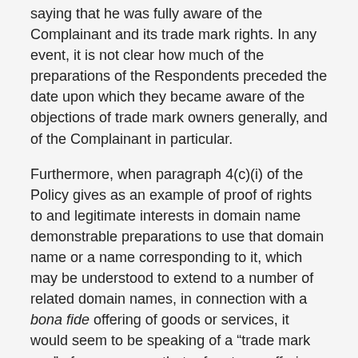saying that he was fully aware of the Complainant and its trade mark rights. In any event, it is not clear how much of the preparations of the Respondents preceded the date upon which they became aware of the objections of trade mark owners generally, and of the Complainant in particular.
Furthermore, when paragraph 4(c)(i) of the Policy gives as an example of proof of rights to and legitimate interests in domain name demonstrable preparations to use that domain name or a name corresponding to it, which may be understood to extend to a number of related domain names, in connection with a bona fide offering of goods or services, it would seem to be speaking of a “trade mark use” of a name, one that refers to an offering of goods or services. It cannot be that the sort of business to which the Policy is referring in paragraph 4(c)(i) is one requiring the unauthorized use¹ of thousands of unrelated domain names, the vast majority of which are identical to famous trade marks belonging to others. If that were considered to be legitimate, then the Policy may be rendered